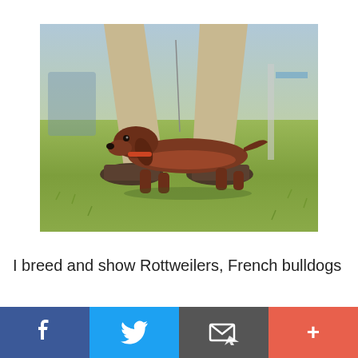[Figure (photo): A dachshund dog walking between the legs of a person wearing khaki pants and dark shoes on a grass lawn at what appears to be a dog show or outdoor event.]
I breed and show Rottweilers, French bulldogs
[Figure (infographic): Social sharing bar with four buttons: Facebook (blue), Twitter (light blue), Email/share (dark grey), and More/plus (coral/red-orange).]